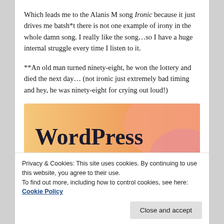Which leads me to the Alanis M song Ironic because it just drives me batsh*t there is not one example of irony in the whole damn song. I really like the song…so I have a huge internal struggle every time I listen to it.
**An old man turned ninety-eight, he won the lottery and died the next day… (not ironic just extremely bad timing and hey, he was ninety-eight for crying out loud!)
[Figure (illustration): WordPress promotional banner with orange/peach/pink gradient background and colorful blob shapes. Text reads 'WordPress in the back.' in large bold dark serif font.]
Privacy & Cookies: This site uses cookies. By continuing to use this website, you agree to their use.
To find out more, including how to control cookies, see here: Cookie Policy